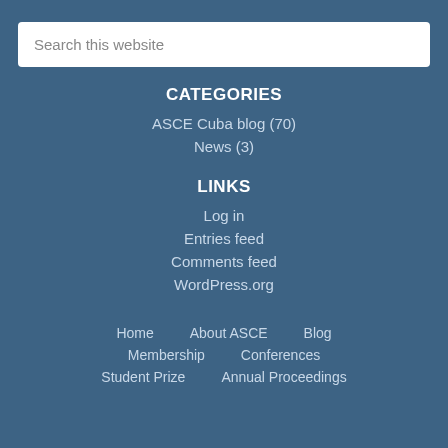Search this website
CATEGORIES
ASCE Cuba blog (70)
News (3)
LINKS
Log in
Entries feed
Comments feed
WordPress.org
Home   About ASCE   Blog   Membership   Conferences   Student Prize   Annual Proceedings